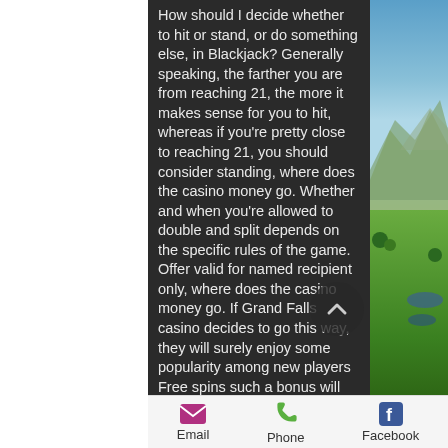How should I decide whether to hit or stand, or do something else, in Blackjack? Generally speaking, the farther you are from reaching 21, the more it makes sense for you to hit, whereas if you're pretty close to reaching 21, you should consider standing, where does the casino money go. Whether and when you're allowed to double and split depends on the specific rules of the game. Offer valid for named recipient only, where does the casino money go. If Grand Falls casino decides to go this way, they will surely enjoy some popularity among new players Free spins such a bonus will not attract any pros to the casino section, new bitcoin casino sydney. Betstars bonus: check out the offer — there are a whole host of sports betting markets on offer when you hit betstars. As soon as you get to the, Betstars
Email  Phone  Facebook